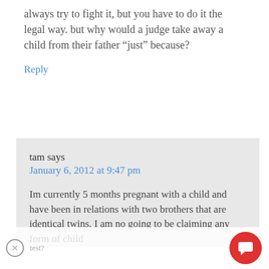always try to fight it, but you have to do it the legal way. but why would a judge take away a child from their father “just” because?
Reply
tam says
January 6, 2012 at 9:47 pm
Im currently 5 months pregnant with a child and have been in relations with two brothers that are identical twins. I am no going to be claiming any form of child